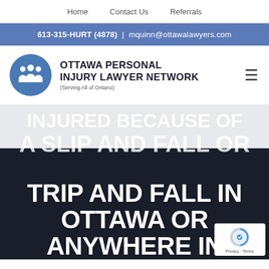Home | Contact Us | Referrals
613-315-HURT (4878) | mquinn@ottawalawyers.com
[Figure (logo): Ottawa Personal Injury Lawyer Network logo with blue circle icon showing three people figures, text reads OTTAWA PERSONAL INJURY LAWYER NETWORK (Serving All of Ontario)]
INJURED BECAUSE OF A SLIP AND FALL OR TRIP AND FALL IN OTTAWA OR ANYWHERE IN